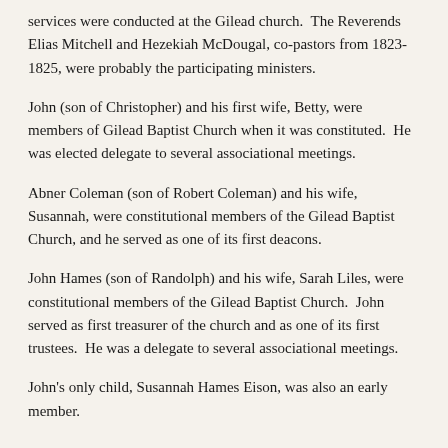services were conducted at the Gilead church.  The Reverends Elias Mitchell and Hezekiah McDougal, co-pastors from 1823-1825, were probably the participating ministers.
John (son of Christopher) and his first wife, Betty, were members of Gilead Baptist Church when it was constituted.  He was elected delegate to several associational meetings.
Abner Coleman (son of Robert Coleman) and his wife, Susannah, were constitutional members of the Gilead Baptist Church, and he served as one of its first deacons.
John Hames (son of Randolph) and his wife, Sarah Liles, were constitutional members of the Gilead Baptist Church.  John served as first treasurer of the church and as one of its first trustees.  He was a delegate to several associational meetings.
John's only child, Susannah Hames Eison, was also an early member.